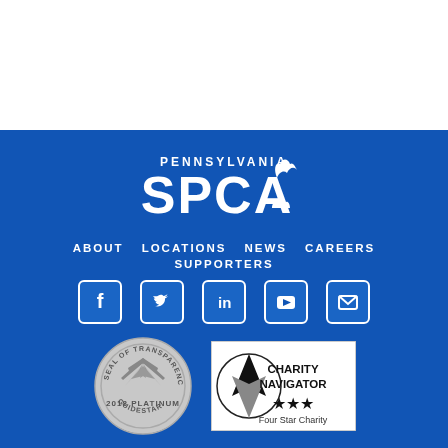[Figure (logo): Pennsylvania SPCA logo in white on blue background]
ABOUT   LOCATIONS   NEWS   CAREERS
SUPPORTERS
[Figure (other): Social media icons: Facebook, Twitter, LinkedIn, YouTube, Email]
[Figure (other): GuideStar 2018 Platinum Seal of Transparency badge and Charity Navigator Four Star Charity badge]
©2021 All rights reserved